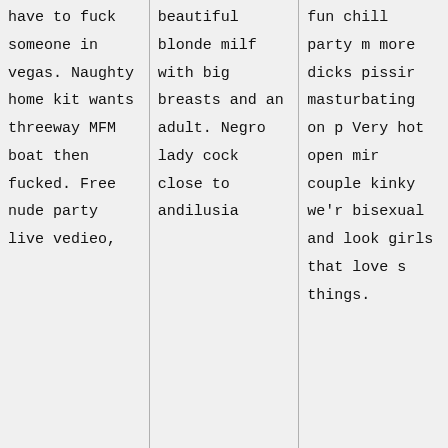have to fuck someone in vegas. Naughty home kit wants threeway MFM boat then fucked. Free nude party live vedieo,
beautiful blonde milf with big breasts and an adult. Negro lady cock close to andilusia
fun chill party more dicks pissing masturbating on p Very hot open min couple kinky we'r bisexual and look girls that love s things.